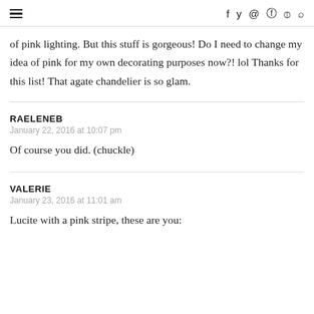≡  f  y  ◎  ⊕  )))  🔍
of pink lighting. But this stuff is gorgeous! Do I need to change my idea of pink for my own decorating purposes now?! lol Thanks for this list! That agate chandelier is so glam.
RAELENEB
January 22, 2016 at 10:07 pm
Of course you did. (chuckle)
VALERIE
January 23, 2016 at 11:01 am
Lucite with a pink stripe, these are you: